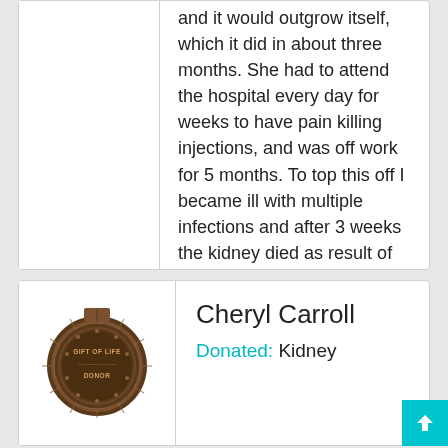and it would outgrow itself, which it did in about three months. She had to attend the hospital every day for weeks to have pain killing injections, and was off work for 5 months. To top this off I became ill with multiple infections and after 3 weeks the kidney died as result of all the drugs they had to give me to save my life. My wife says she does not regret it and that it was still worth the try. I am on the national waiting list and hope for a kidney soon.
Cheryl Carroll
Donated: Kidney